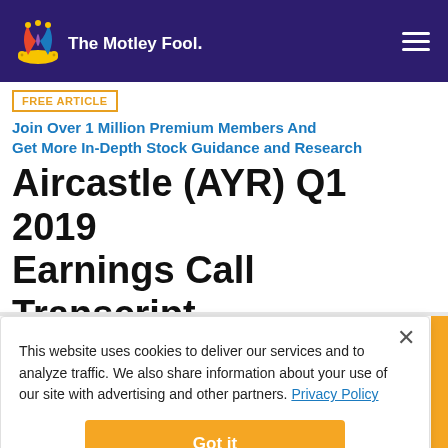The Motley Fool
FREE ARTICLE  Join Over 1 Million Premium Members And Get More In-Depth Stock Guidance and Research
Aircastle (AYR) Q1 2019 Earnings Call Transcript
This website uses cookies to deliver our services and to analyze traffic. We also share information about your use of our site with advertising and other partners. Privacy Policy
Got it
Cookie Settings